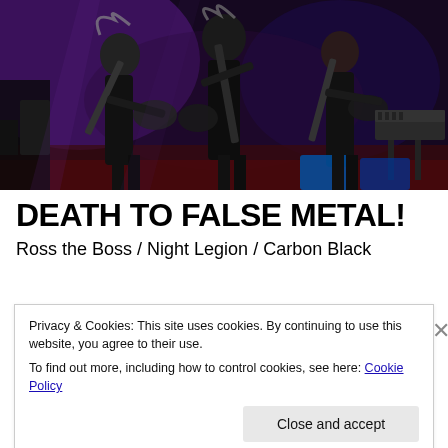[Figure (photo): Concert photo of three musicians performing on a darkly lit stage with purple/blue lighting. Musicians in black clothes playing guitars, with drum kit and keyboard visible in background.]
DEATH TO FALSE METAL!
Ross the Boss / Night Legion / Carbon Black
Privacy & Cookies: This site uses cookies. By continuing to use this website, you agree to their use.
To find out more, including how to control cookies, see here: Cookie Policy
Close and accept